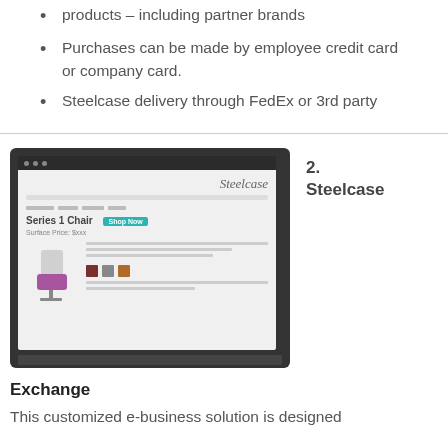products – including partner brands
Purchases can be made by employee credit card or company card.
Steelcase delivery through FedEx or 3rd party
[Figure (photo): Laptop computer showing the Steelcase website with a Series 1 Chair product page, featuring a purple office chair and color swatches]
2. Steelcase
Exchange
This customized e-business solution is designed